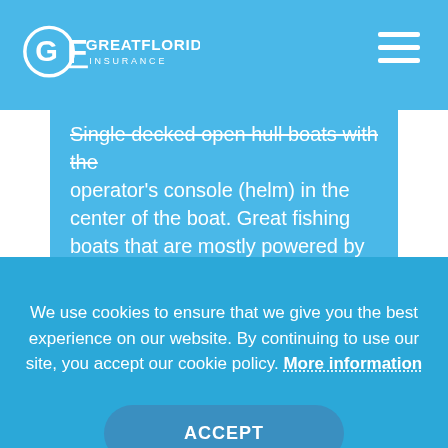GreatFlorida Insurance
Single decked open hull boats with the operator's console (helm) in the center of the boat. Great fishing boats that are mostly powered by outboard motors.
Cubby Cabin
We use cookies to ensure that we give you the best experience on our website. By continuing to use our site, you accept our cookie policy. More information
ACCEPT